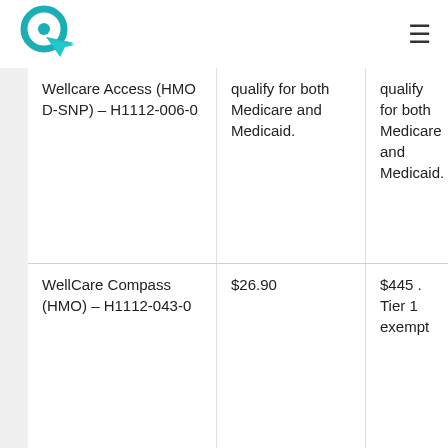Logo and navigation menu
| Plan | Premium | Drug Coverage |
| --- | --- | --- |
| Wellcare Access (HMO D-SNP) – H1112-006-0 | qualify for both Medicare and Medicaid. | qualify for both Medicare and Medicaid. |
| WellCare Compass (HMO) – H1112-043-0 | $26.90 | $445 . Tier 1 exempt |